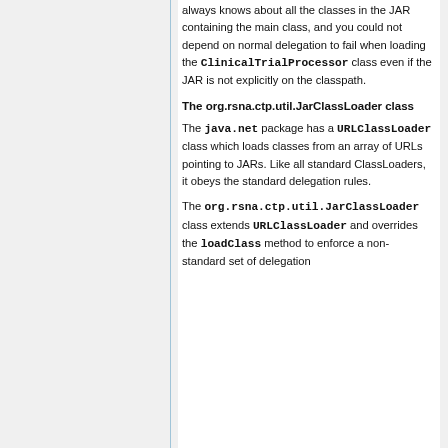always knows about all the classes in the JAR containing the main class, and you could not depend on normal delegation to fail when loading the ClinicalTrialProcessor class even if the JAR is not explicitly on the classpath.
The org.rsna.ctp.util.JarClassLoader class
The java.net package has a URLClassLoader class which loads classes from an array of URLs pointing to JARs. Like all standard ClassLoaders, it obeys the standard delegation rules.
The org.rsna.ctp.util.JarClassLoader class extends URLClassLoader and overrides the loadClass method to enforce a non-standard set of delegation...